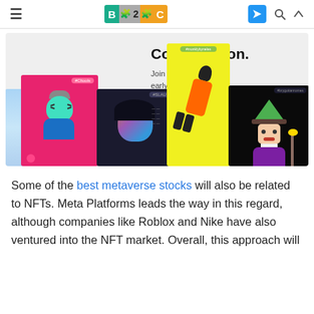B2C — Business 2 Community
[Figure (screenshot): B2C website screenshot showing 'Coming soon. Join the waitlist to get early access.' with a collage of NFT artwork images below including cartoon characters, pixel art, and digital illustrations.]
Some of the best metaverse stocks will also be related to NFTs. Meta Platforms leads the way in this regard, although companies like Roblox and Nike have also ventured into the NFT market. Overall, this approach will